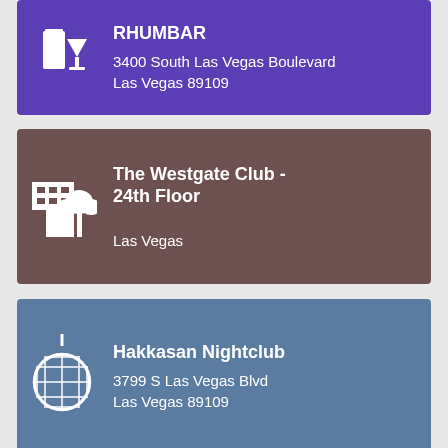RHUMBAR
3400 South Las Vegas Boulevard
Las Vegas 89109
The Westgate Club - 24th Floor
Las Vegas
Hakkasan Nightclub
3799 S Las Vegas Blvd
Las Vegas 89109